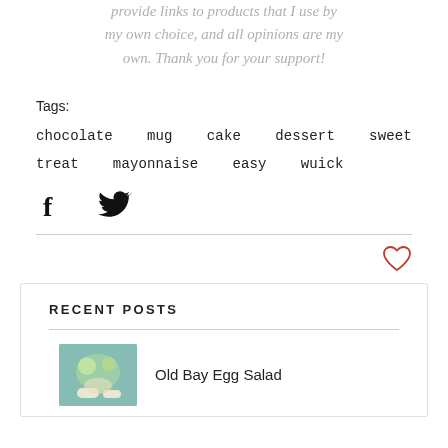provide links to products that I use by my own choice, and all opinions are my own. Thank you for your support!
Tags:
chocolate   mug   cake   dessert   sweet   treat   mayonnaise   easy   wuick
[Figure (other): Facebook and Twitter share icons]
[Figure (other): Heart/like icon (outline, red)]
RECENT POSTS
Old Bay Egg Salad